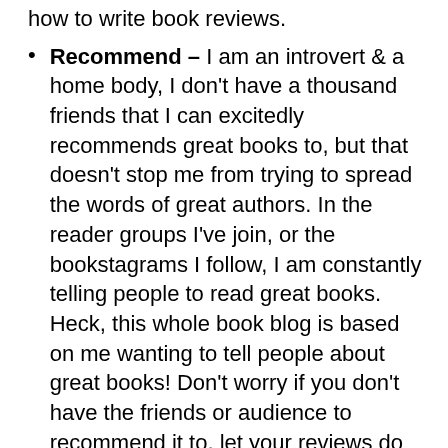how to write book reviews.
Recommend – I am an introvert & a home body, I don't have a thousand friends that I can excitedly recommends great books to, but that doesn't stop me from trying to spread the words of great authors. In the reader groups I've join, or the bookstagrams I follow, I am constantly telling people to read great books. Heck, this whole book blog is based on me wanting to tell people about great books! Don't worry if you don't have the friends or audience to recommend it to, let your reviews do